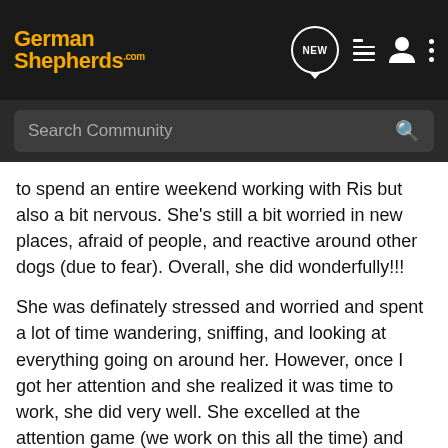[Figure (screenshot): GermanShepherds.com website navigation bar with logo, NEW chat icon, list icon, person icon, and three-dot menu icon on dark background]
[Figure (screenshot): Search Community search bar on dark background]
to spend an entire weekend working with Ris but also a bit nervous. She's still a bit worried in new places, afraid of people, and reactive around other dogs (due to fear). Overall, she did wonderfully!!!
She was definately stressed and worried and spent a lot of time wandering, sniffing, and looking at everything going on around her. However, once I got her attention and she realized it was time to work, she did very well. She excelled at the attention game (we work on this all the time) and the presenter (Andrea Dugan) used Ris as a demo for it.
Aside from her growling at other dogs near her kennel, she was very well-behaved while she was in it. She didn't even roll it over! On Saturday I left to go to the bathroom and accidentally